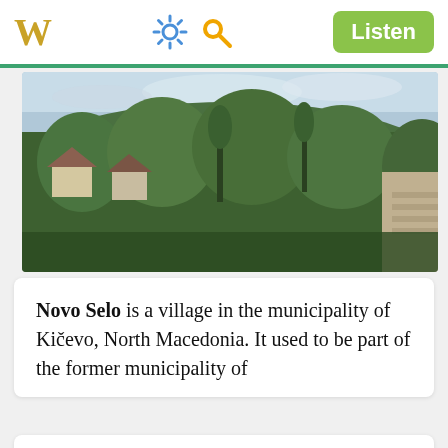W  [settings icon] [search icon]  Listen
[Figure (photo): Landscape photo of a village with green trees, rooftops and a hillside in the background under a cloudy sky, likely Novo Selo in North Macedonia.]
Novo Selo is a village in the municipality of Kičevo, North Macedonia. It used to be part of the former municipality of
Osoj is a village in the municipality of Kičevo, North Macedonia.